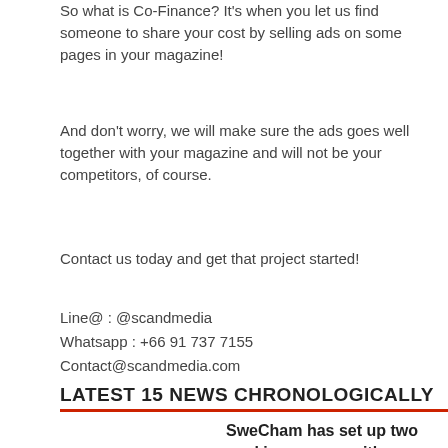So what is Co-Finance? It's when you let us find someone to share your cost by selling ads on some pages in your magazine!
And don't worry, we will make sure the ads goes well together with your magazine and will not be your competitors, of course.
Contact us today and get that project started!
Line@ : @scandmedia
Whatsapp : +66 91 737 7155
Contact@scandmedia.com
LATEST 15 NEWS CHRONOLOGICALLY
SweCham has set up two working groups with leading Swedish companies